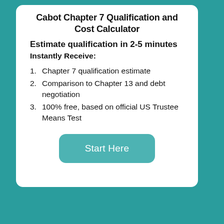Cabot Chapter 7 Qualification and Cost Calculator
Estimate qualification in 2-5 minutes
Instantly Receive:
Chapter 7 qualification estimate
Comparison to Chapter 13 and debt negotiation
100% free, based on official US Trustee Means Test
[Figure (other): Start Here button — teal rounded rectangle with white text]